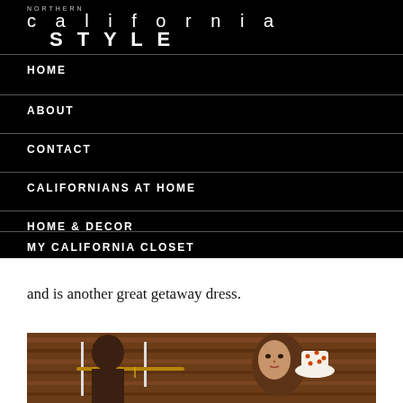NORTHERN california STYLE
HOME
ABOUT
CONTACT
CALIFORNIANS AT HOME
HOME & DECOR
MY CALIFORNIA CLOSET
and is another great getaway dress.
[Figure (photo): Two women in a rustic wooden interior, one browsing clothes on a rack with golden hangers, the other wearing a white hat with colorful polka dots, brown hair visible]